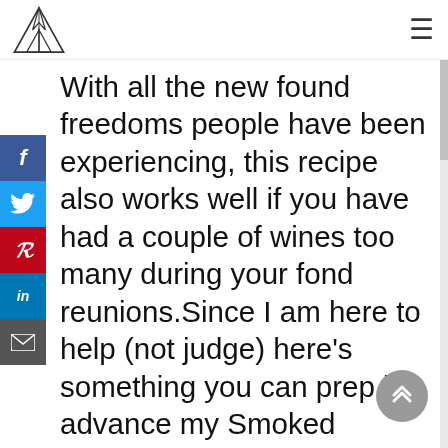[Logo] [Hamburger menu]
[Figure (logo): Geometric triangular logo in outline style]
With all the new found freedoms people have been experiencing, this recipe also works well if you have had a couple of wines too many during your fond reunions.Since I am here to help (not judge) here's something you can prep in advance my Smoked Paprika Baked Cauliflower with Pomegranates and Avo smash (cause